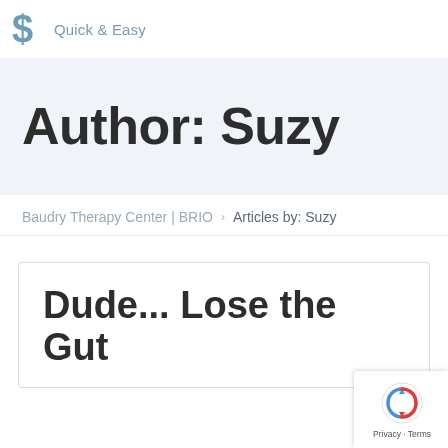Quick & Easy
Author: Suzy
Baudry Therapy Center | BRIO  >  Articles by: Suzy
Dude... Lose the Gut